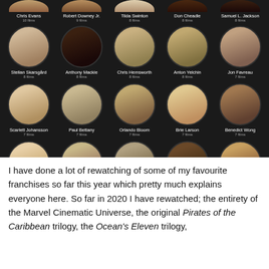[Figure (infographic): Dark-background grid of actor portrait circles in 5 columns and 4 rows. Row 1 (partial, cut off at top): Chris Evans (10 films), Robert Downey Jr. (9 films), Tilda Swinton (8 films), Don Cheadle (8 films), Samuel L. Jackson (8 films). Row 2: Stellan Skarsgård (8 films), Anthony Mackie (8 films), Chris Hemsworth (8 films), Anton Yelchin (8 films), Jon Favreau (7 films). Row 3: Scarlett Johansson (7 films), Paul Bettany (7 films), Orlando Bloom (7 films), Brie Larson (7 films), Benedict Wong (7 films). Row 4: Gwyneth Paltrow (7 films), Tom Holland (7 films), Mark Ruffalo (6 films), Vin Diesel (6 films), Sean Bean (6 films).]
I have done a lot of rewatching of some of my favourite franchises so far this year which pretty much explains everyone here. So far in 2020 I have rewatched; the entirety of the Marvel Cinematic Universe, the original Pirates of the Caribbean trilogy, the Ocean's Eleven trilogy,